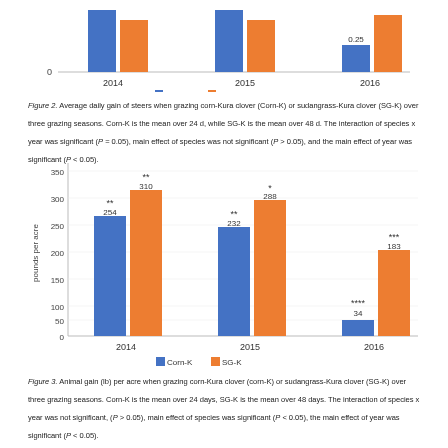[Figure (grouped-bar-chart): Figure 2 top partial chart]
Figure 2. Average daily gain of steers when grazing corn-Kura clover (Corn-K) or sudangrass-Kura clover (SG-K) over three grazing seasons. Corn-K is the mean over 24 d, while SG-K is the mean over 48 d. The interaction of species x year was significant (P = 0.05), main effect of species was not significant (P > 0.05), and the main effect of year was significant (P < 0.05).
[Figure (grouped-bar-chart): Animal gain (lb) per acre]
Figure 3. Animal gain (lb) per acre when grazing corn-Kura clover (corn-K) or sudangrass-Kura clover (SG-K) over three grazing seasons. Corn-K is the mean over 24 days, SG-K is the mean over 48 days. The interaction of species x year was not significant, (P > 0.05), main effect of species was significant (P < 0.05), the main effect of year was significant (P < 0.05).
Participation Summary
Educational & Outreach Activities